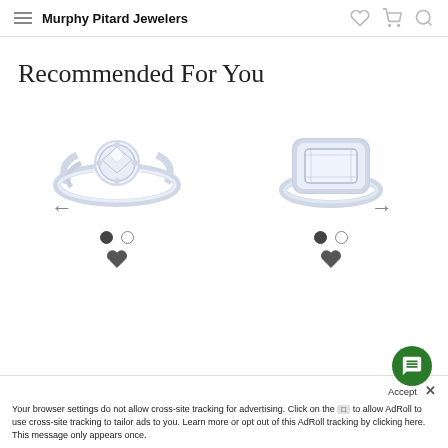Murphy Pitard Jewelers
Recommended For You
[Figure (photo): Round diamond solitaire engagement ring with split shank pave band, white gold]
[Figure (photo): Emerald cut diamond halo engagement ring with pave band, white gold]
Accept × Your browser settings do not allow cross-site tracking for advertising. Click on the to allow AdRoll to use cross-site tracking to tailor ads to you. Learn more or opt out of this AdRoll tracking by clicking here. This message only appears once.